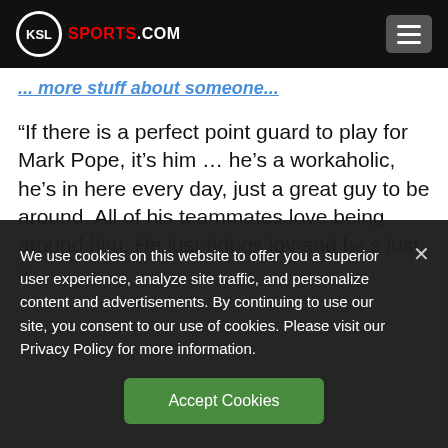KSL SPORTS.COM
... more stuff about someone...
“If there is a perfect point guard to play for Mark Pope, it’s him … he’s a workaholic, he’s in here every day, just a great guy to be around. All of his teammates love being around him. He just brings joy and he’s just a
We use cookies on this website to offer you a superior user experience, analyze site traffic, and personalize content and advertisements. By continuing to use our site, you consent to our use of cookies. Please visit our Privacy Policy for more information.
Accept Cookies